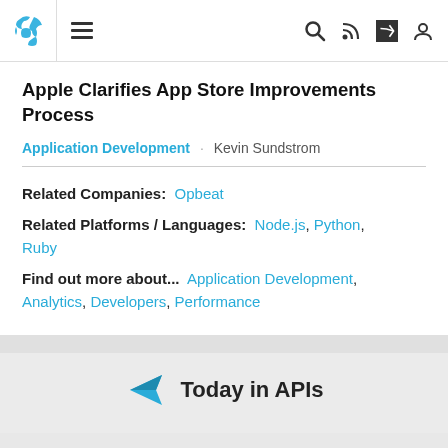[Navigation bar with puzzle logo, hamburger menu, search, RSS, share, and user icons]
Apple Clarifies App Store Improvements Process
Application Development · Kevin Sundstrom
Related Companies: Opbeat
Related Platforms / Languages: Node.js, Python, Ruby
Find out more about... Application Development, Analytics, Developers, Performance
Today in APIs